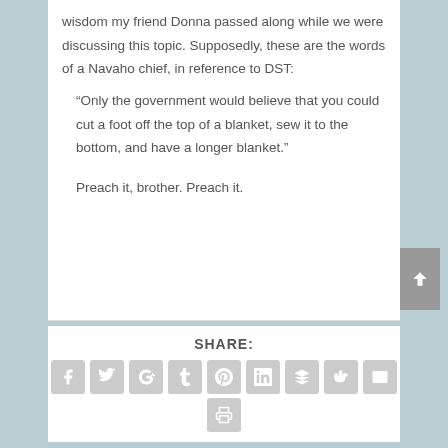wisdom my friend Donna passed along while we were discussing this topic. Supposedly, these are the words of a Navaho chief, in reference to DST:
“Only the government would believe that you could cut a foot off the top of a blanket, sew it to the bottom, and have a longer blanket.”
Preach it, brother. Preach it.
SHARE:
[Figure (infographic): Social media sharing icons: Facebook, Twitter, Google+, Tumblr, Pinterest, LinkedIn, Buffer, StumbleUpon, Email, and Print]